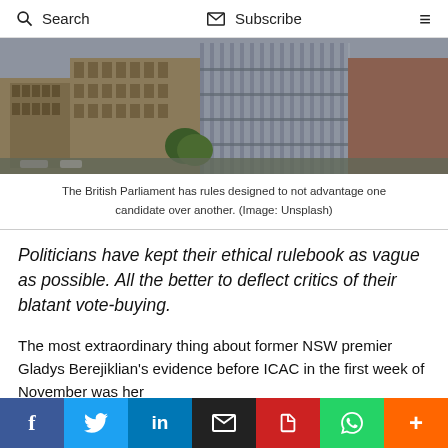Search  Subscribe  ☰
[Figure (photo): Aerial view of the British Parliament building complex with large stone architecture and trees visible.]
The British Parliament has rules designed to not advantage one candidate over another. (Image: Unsplash)
Politicians have kept their ethical rulebook as vague as possible. All the better to deflect critics of their blatant vote-buying.
The most extraordinary thing about former NSW premier Gladys Berejiklian's evidence before ICAC in the first week of November was her